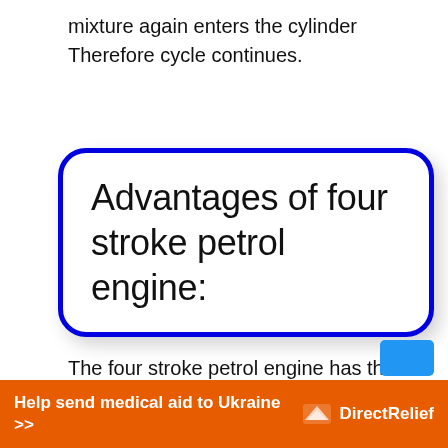mixture again enters the cylinder Therefore cycle continues.
Advantages of four stroke petrol engine:
The four stroke petrol engine has the following advantages:-
1.
[Figure (infographic): Orange advertisement banner: 'Help send medical aid to Ukraine >>' with Direct Relief logo]